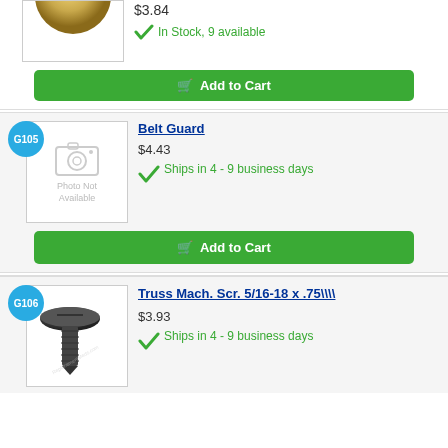[Figure (photo): Partial view of a gold-colored round part (top cut off)]
$3.84
In Stock, 9 available
Add to Cart
G105
[Figure (photo): Photo Not Available placeholder image]
Belt Guard
$4.43
Ships in 4 - 9 business days
Add to Cart
G106
[Figure (photo): Black truss machine screw photo]
Truss Mach. Scr. 5/16-18 x .75\\
$3.93
Ships in 4 - 9 business days